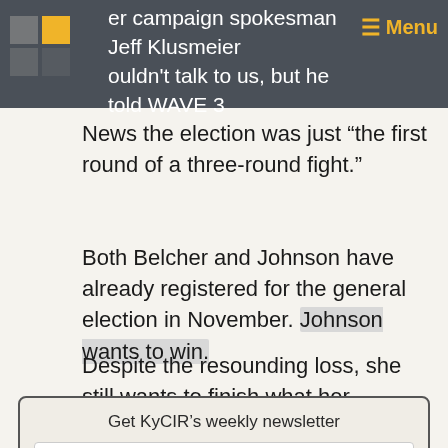er campaign spokesman Jeff Klusmeier couldn't talk to us, but he told WAVE 3
News the election was just “the first round of a three-round fight.”
Both Belcher and Johnson have already registered for the general election in November. Johnson wants to win.
Despite the resounding loss, she still wants to finish what her husband started.
Get KyCIR’s weekly newsletter